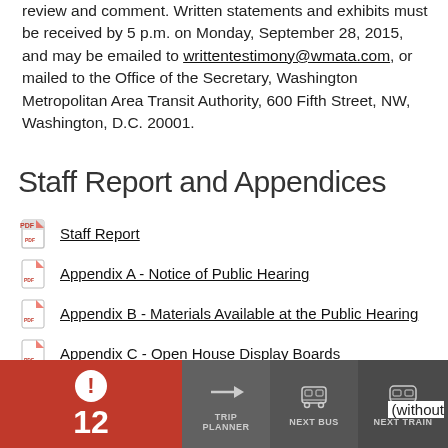review and comment. Written statements and exhibits must be received by 5 p.m. on Monday, September 28, 2015, and may be emailed to writtentestimony@wmata.com, or mailed to the Office of the Secretary, Washington Metropolitan Area Transit Authority, 600 Fifth Street, NW, Washington, D.C. 20001.
Staff Report and Appendices
Staff Report
Appendix A - Notice of Public Hearing
Appendix B - Materials Available at the Public Hearing
Appendix C - Open House Display Boards
Appendix D - Public Hearing Staff Presentation in English and Spanish
Appendi[x E - ...]
Appendi[x F - ...] (without
[Figure (other): Bottom navigation bar overlay showing: alert badge with exclamation mark and number 12 (red background), Trip Planner button (gray), Next Bus button (gray with bus icon), Next Train button (gray with train icon)]